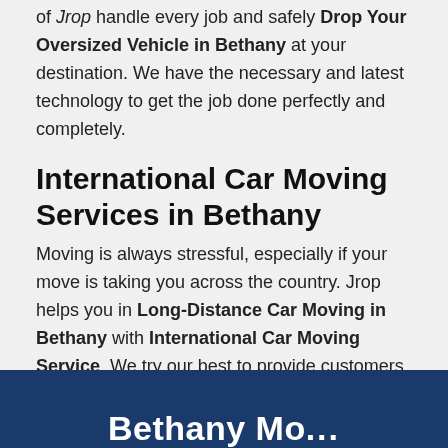of Jrop handle every job and safely Drop Your Oversized Vehicle in Bethany at your destination. We have the necessary and latest technology to get the job done perfectly and completely.
International Car Moving Services in Bethany
Moving is always stressful, especially if your move is taking you across the country. Jrop helps you in Long-Distance Car Moving in Bethany with International Car Moving Service. We try our best to provide customers with a seamless, easy, and unforgettable long-distance car moving experience worldwide.
Bethany Mo...